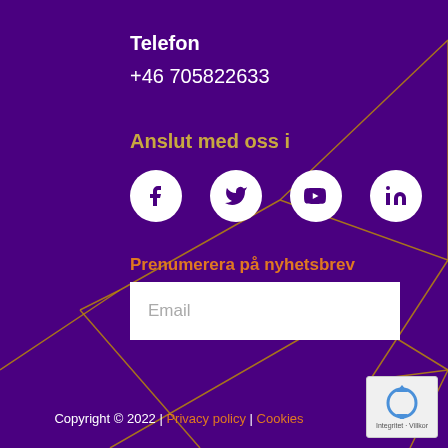Telefon
+46 705822633
Anslut med oss i
[Figure (infographic): Social media icons: Facebook, Twitter, YouTube, LinkedIn — white circles on purple background]
Prenumerera på nyhetsbrev
Email (input field placeholder)
Subscribe! (button)
Copyright © 2022 | Privacy policy | Cookies
[Figure (logo): reCAPTCHA badge with blue recycling arrows icon and text 'Integritet · Villkor']